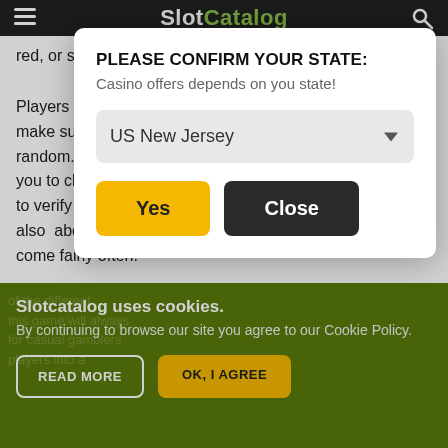SlotCatalog
red, or select eac
Players can also make sure that random. Plinko i you to change yo to verify the gam also above the a come fairly often.
Plinko - Slot Verdict
PLEASE CONFIRM YOUR STATE:
Casino offers depends on you state!
US New Jersey
Yes
Close
Slotcatalog uses cookies.
By continuing to browse our site you agree to our Cookie Policy.
READ MORE
OK, I AGREE